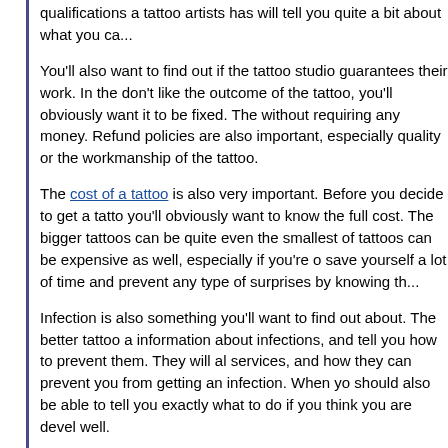qualifications a tattoo artists has will tell you quite a bit about what you ca...
You'll also want to find out if the tattoo studio guarantees their work. In the... don't like the outcome of the tattoo, you'll obviously want it to be fixed. The... without requiring any money. Refund policies are also important, especially... quality or the workmanship of the tattoo.
The cost of a tattoo is also very important. Before you decide to get a tatto... you'll obviously want to know the full cost. The bigger tattoos can be quite... even the smallest of tattoos can be expensive as well, especially if you're o... save yourself a lot of time and prevent any type of surprises by knowing th...
Infection is also something you'll want to find out about. The better tattoo a... information about infections, and tell you how to prevent them. They will al... services, and how they can prevent you from getting an infection. When yo... should also be able to tell you exactly what to do if you think you are devel... well.
If you suffer from a fear of needles, you should always ask if there is a way... never feel bad about asking, as many people are deathly afraid of needles... tattoos, as there is no other way to put the ink in the skin. If you are afraid... the needles, you should make sure that you let your tattoo artist know. Cha... able to take extra steps to make the process go as smoothly as possible.
Asking questions is never a bad thing when it comes to getting a tattoo. If... answer any question you ask or acts hasty towards you, you should alway... tattoo artist. Tattoos always have risks and concern, which is why tattoo ar... than willing to answer any questions that you may have. Asking questions... concern and make you feel better about the artist – which is why you shou... write a list of questions before you visit the tattoo parlor.